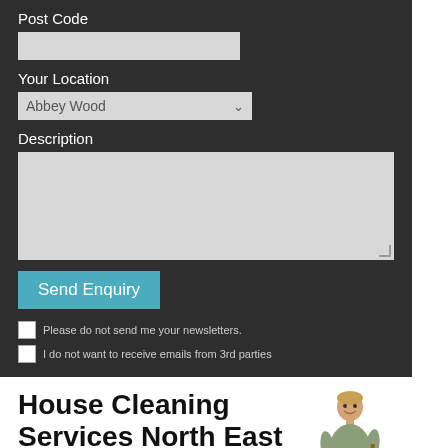Post Code
Your Location
Abbey Wood
Description
Send Enquiry
Please do not send me your newsletters.
I do not want to receive emails from 3rd parties
House Cleaning Services North East London
House cleaning services in North